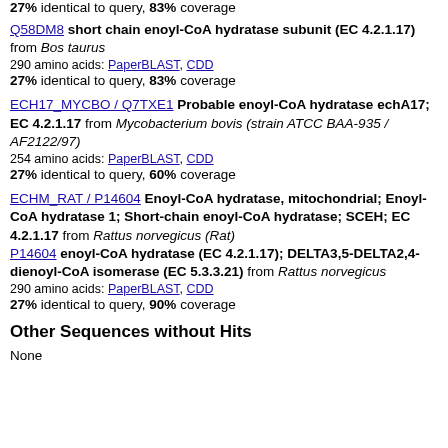27% identical to query, 83% coverage
Q58DM8 short chain enoyl-CoA hydratase subunit (EC 4.2.1.17) from Bos taurus
290 amino acids: PaperBLAST, CDD
27% identical to query, 83% coverage
ECH17_MYCBO / Q7TXE1 Probable enoyl-CoA hydratase echA17; EC 4.2.1.17 from Mycobacterium bovis (strain ATCC BAA-935 / AF2122/97)
254 amino acids: PaperBLAST, CDD
27% identical to query, 60% coverage
ECHM_RAT / P14604 Enoyl-CoA hydratase, mitochondrial; Enoyl-CoA hydratase 1; Short-chain enoyl-CoA hydratase; SCEH; EC 4.2.1.17 from Rattus norvegicus (Rat)
P14604 enoyl-CoA hydratase (EC 4.2.1.17); DELTA3,5-DELTA2,4-dienoyl-CoA isomerase (EC 5.3.3.21) from Rattus norvegicus
290 amino acids: PaperBLAST, CDD
27% identical to query, 90% coverage
Other Sequences without Hits
None